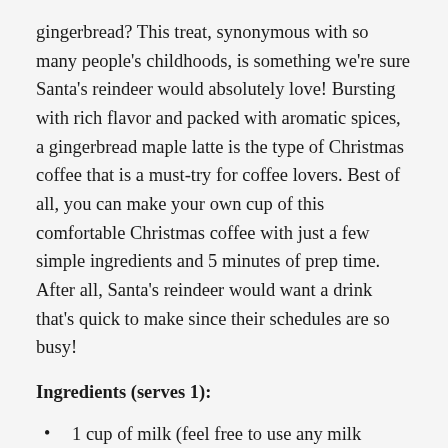gingerbread? This treat, synonymous with so many people's childhoods, is something we're sure Santa's reindeer would absolutely love! Bursting with rich flavor and packed with aromatic spices, a gingerbread maple latte is the type of Christmas coffee that is a must-try for coffee lovers. Best of all, you can make your own cup of this comfortable Christmas coffee with just a few simple ingredients and 5 minutes of prep time. After all, Santa's reindeer would want a drink that's quick to make since their schedules are so busy!
Ingredients (serves 1):
1 cup of milk (feel free to use any milk substitute you like)
1 shot of espresso
1/4 teaspoon of ground ginger